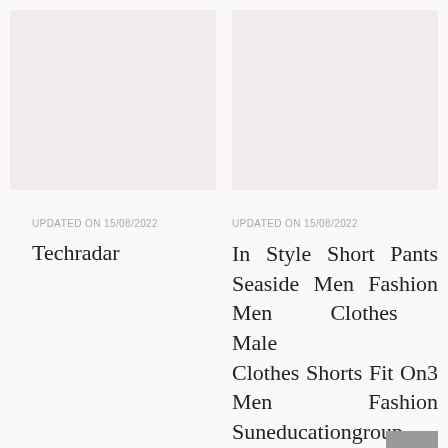[Figure (photo): Top-left image placeholder, light pinkish-grey background]
[Figure (photo): Top-right image placeholder, light pinkish-grey background]
UPDATED ON 15/08/2022
UPDATED ON 15/08/2022
Techradar
In Style Short Pants Seaside Men Fashion Men Clothes Male Clothes Shorts Fit On3 Men Fashion Suneducationgroup Com
[Figure (photo): Bottom-left image placeholder, light pinkish-grey background]
[Figure (photo): Bottom-right image placeholder, light pinkish-grey background, with back-to-top arrow button in bottom-right corner]